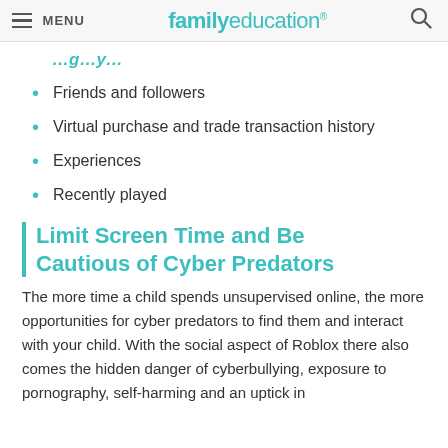MENU | familyeducation
…g…y…
Friends and followers
Virtual purchase and trade transaction history
Experiences
Recently played
Limit Screen Time and Be Cautious of Cyber Predators
The more time a child spends unsupervised online, the more opportunities for cyber predators to find them and interact with your child. With the social aspect of Roblox there also comes the hidden danger of cyberbullying, exposure to pornography, self-harming and an uptick in